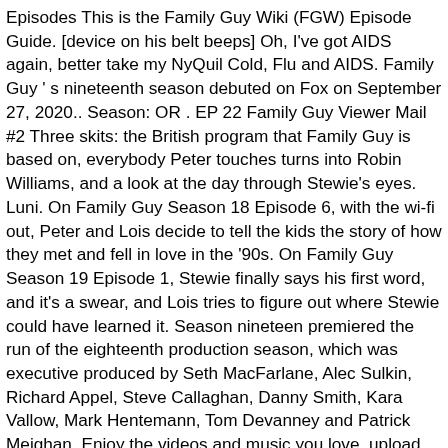Episodes This is the Family Guy Wiki (FGW) Episode Guide. [device on his belt beeps] Oh, I've got AIDS again, better take my NyQuil Cold, Flu and AIDS. Family Guy ' s nineteenth season debuted on Fox on September 27, 2020.. Season: OR . EP 22 Family Guy Viewer Mail #2 Three skits: the British program that Family Guy is based on, everybody Peter touches turns into Robin Williams, and a look at the day through Stewie's eyes. Luni. On Family Guy Season 18 Episode 6, with the wi-fi out, Peter and Lois decide to tell the kids the story of how they met and fell in love in the '90s. On Family Guy Season 19 Episode 1, Stewie finally says his first word, and it's a swear, and Lois tries to figure out where Stewie could have learned it. Season nineteen premiered the run of the eighteenth production season, which was executive produced by Seth MacFarlane, Alec Sulkin, Richard Appel, Steve Callaghan, Danny Smith, Kara Vallow, Mark Hentemann, Tom Devanney and Patrick Meighan. Enjoy the videos and music you love, upload original content, and share it all with friends, family, and the world on YouTube.